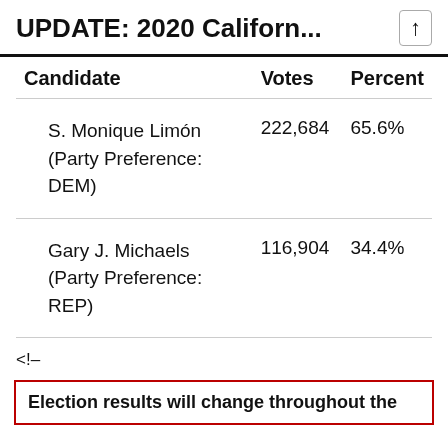UPDATE: 2020 Californ...
| Candidate | Votes | Percent |
| --- | --- | --- |
| S. Monique Limón (Party Preference: DEM) | 222,684 | 65.6% |
| Gary J. Michaels (Party Preference: REP) | 116,904 | 34.4% |
<!--
Election results will change throughout the